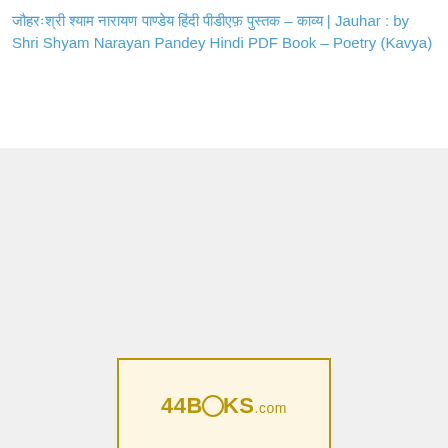जौहर : श्री श्याम नारायण पाण्डेय हिंदी पीडीऍफ़ पुस्तक – काव्य | Jauhar : by Shri Shyam Narayan Pandey Hindi PDF Book – Poetry (Kavya)
[Figure (logo): 44BOOKS.com logo in gold/olive color inside a gold rectangular border on a cream background]